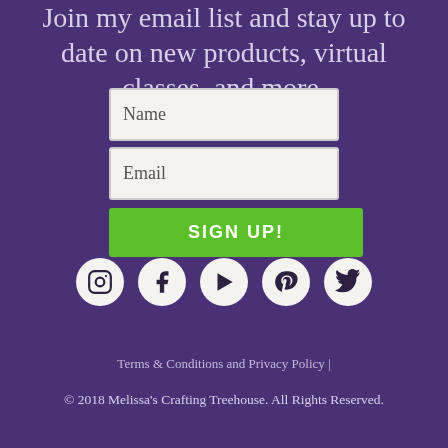Join my email list and stay up to date on new products, virtual classes, and more.
[Figure (screenshot): Email signup form with Name field, Email field, and a green SIGN UP! button]
[Figure (infographic): Row of five social media icons: Instagram, Facebook, YouTube, Pinterest, Twitter]
Terms & Conditions and Privacy Policy |
© 2018 Melissa's Crafting Treehouse. All Rights Reserved.